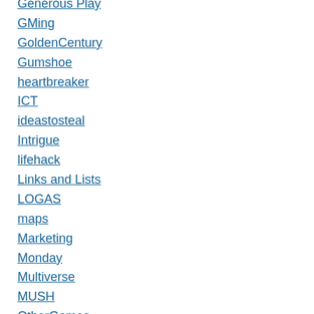Generous Play
GMing
GoldenCentury
Gumshoe
heartbreaker
ICT
ideastosteal
Intrigue
lifehack
Links and Lists
LOGAS
maps
Marketing
Monday
Multiverse
MUSH
OtherGames
PBTA